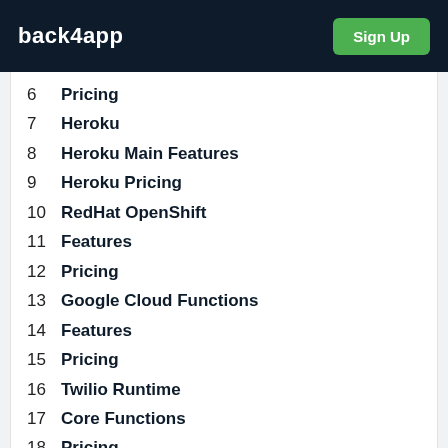back4app  Sign Up
6  Pricing
7  Heroku
8  Heroku Main Features
9  Heroku Pricing
10  RedHat OpenShift
11  Features
12  Pricing
13  Google Cloud Functions
14  Features
15  Pricing
16  Twilio Runtime
17  Core Functions
18  Pricing
19  Conclusion
20  FAQ